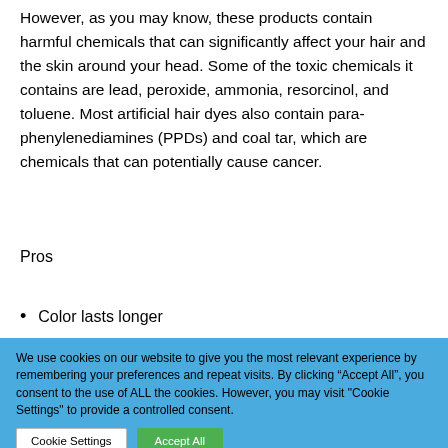However, as you may know, these products contain harmful chemicals that can significantly affect your hair and the skin around your head. Some of the toxic chemicals it contains are lead, peroxide, ammonia, resorcinol, and toluene. Most artificial hair dyes also contain para-phenylenediamines (PPDs) and coal tar, which are chemicals that can potentially cause cancer.
Pros
Color lasts longer
We use cookies on our website to give you the most relevant experience by remembering your preferences and repeat visits. By clicking “Accept All”, you consent to the use of ALL the cookies. However, you may visit "Cookie Settings" to provide a controlled consent.